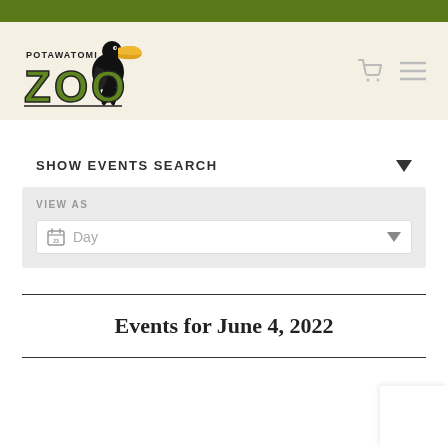[Figure (logo): Potawatomi Zoo logo with toucan bird graphic and green ZOO lettering]
SHOW EVENTS SEARCH
VIEW AS
Day
Events for June 4, 2022